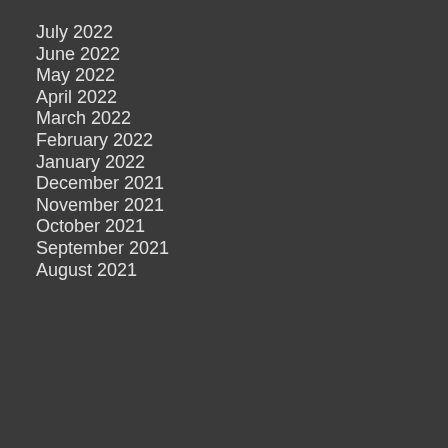July 2022
June 2022
May 2022
April 2022
March 2022
February 2022
January 2022
December 2021
November 2021
October 2021
September 2021
August 2021